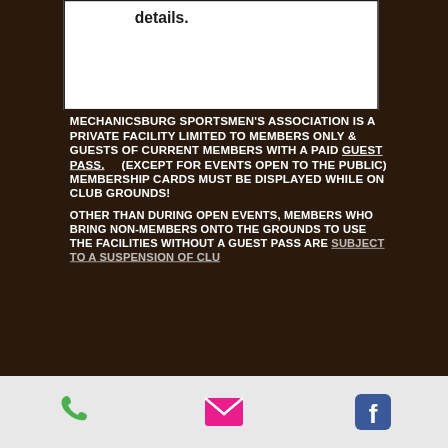details.
MECHANICSBURG SPORTSMEN'S ASSOCIATION IS A PRIVATE FACILITY LIMITED TO MEMBERS ONLY & GUESTS OF CURRENT MEMBERS WITH A PAID GUEST PASS.    (EXCEPT FOR EVENTS OPEN TO THE PUBLIC) MEMBERSHIP CARDS MUST BE DISPLAYED WHILE ON CLUB GROUNDS!
OTHER THAN DURING OPEN EVENTS, MEMBERS WHO BRING NON-MEMBERS ONTO THE GROUNDS TO USE THE FACILITIES WITHOUT A GUEST PASS ARE SUBJECT TO A SUSPENSION OF CLUB
phone | email | facebook